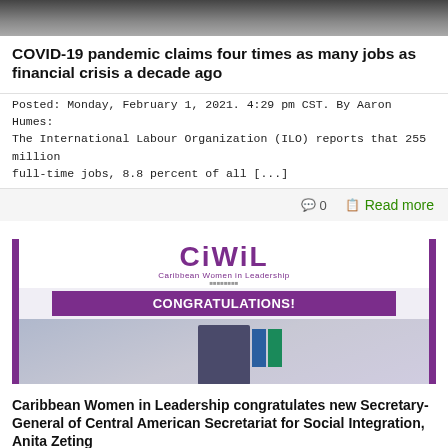[Figure (photo): Partial top image, cropped, showing people or a scene]
COVID-19 pandemic claims four times as many jobs as financial crisis a decade ago
Posted: Monday, February 1, 2021. 4:29 pm CST. By Aaron Humes: The International Labour Organization (ILO) reports that 255 million full-time jobs, 8.8 percent of all [...]
0   Read more
[Figure (photo): CiWiL Caribbean Women in Leadership logo with CONGRATULATIONS banner and a woman posing in front of flags]
Caribbean Women in Leadership congratulates new Secretary-General of Central American Secretariat for Social Integration, Anita Zeting